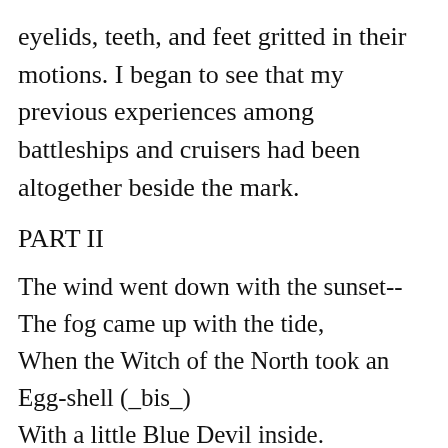eyelids, teeth, and feet gritted in their motions. I began to see that my previous experiences among battleships and cruisers had been altogether beside the mark.
PART II
The wind went down with the sunset--
The fog came up with the tide,
When the Witch of the North took an Egg-shell (_bis_)
With a little Blue Devil inside.
"Sink," she said, "or swim," she said,
"It's all you will get from me.
And that is the finish of him!" she said,
And the Egg-shell went to sea.